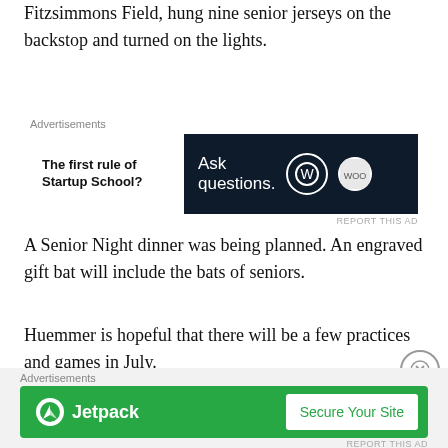Fitzsimmons Field, hung nine senior jerseys on the backstop and turned on the lights.
[Figure (other): Advertisement banner: 'The first rule of Startup School?' on left; dark navy box on right with 'Ask questions.' text and WordPress logo and another circular logo]
A Senior Night dinner was being planned. An engraved gift bat will include the bats of seniors.
Huemmer is hopeful that there will be a few practices and games in July.
NEW PRAIRIE
Bear Tolman Field had the numbers of New Prairie's eight
[Figure (other): Advertisement banner: Jetpack logo on green background with 'Secure Your Site' button]